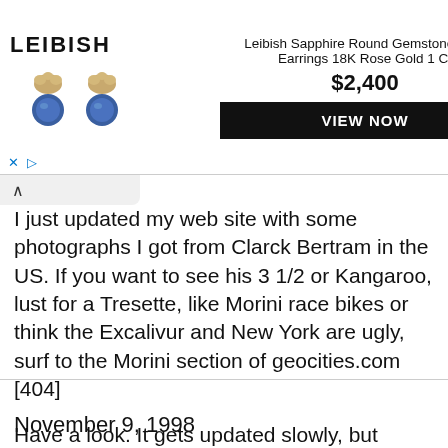[Figure (infographic): Leibish advertisement banner showing sapphire earrings with product title, price $2,400 and VIEW NOW button]
I just updated my web site with some photographs I got from Clarck Bertram in the US. If you want to see his 3 1/2 or Kangaroo, lust for a Tresette, like Morini race bikes or think the Excalivur and New York are ugly, surf to the Morini section of geocities.com [404]
Have a look. It gets updated slowly, but updated.
Pastaboy -- lieven.loots at arts.kuleuven.ac.be
November 9, 1998